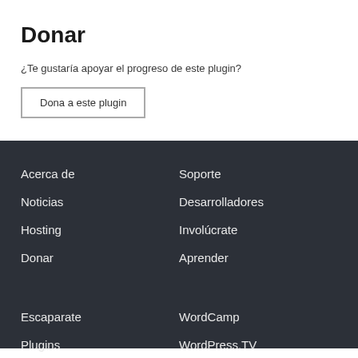Donar
¿Te gustaría apoyar el progreso de este plugin?
Dona a este plugin
Acerca de
Soporte
Noticias
Desarrolladores
Hosting
Involúcrate
Donar
Aprender
Escaparate
WordCamp
Plugins
WordPress.TV